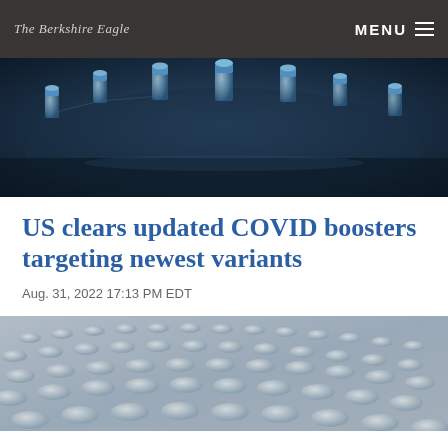The Berkshire Eagle
[Figure (photo): Close-up of multiple small glass vaccine vials with blue liquid on a dark rotating industrial surface, lit with blue tones]
US clears updated COVID boosters targeting newest variants
Aug. 31, 2022 17:13 PM EDT
[Figure (photo): Large array of white-capped vaccine vials arranged in rows on a production surface, photographed from above at an angle with shallow depth of field]